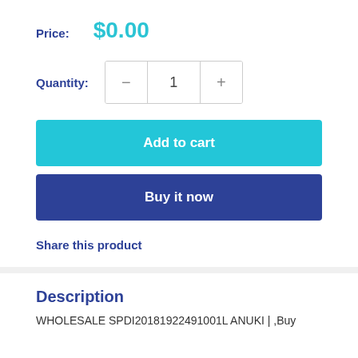Price: $0.00
Quantity: 1
Add to cart
Buy it now
Share this product
Description
WHOLESALE SPDI20181922491001L ANUKI | ,Buy